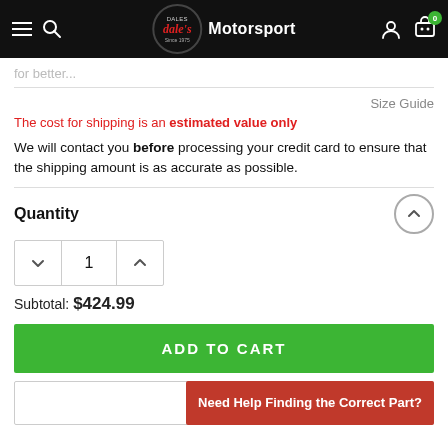Dale's Motorsport
for better...
Size Guide
The cost for shipping is an estimated value only
We will contact you before processing your credit card to ensure that the shipping amount is as accurate as possible.
Quantity
1
Subtotal: $424.99
ADD TO CART
Need Help Finding the Correct Part?